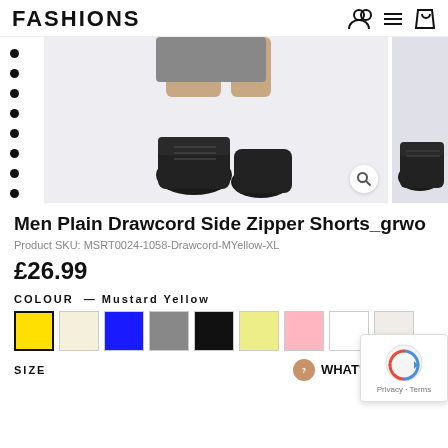FASHIONS
[Figure (photo): Person wearing black sneakers and shorts, with a main product image and a side thumbnail view. A magnifying glass zoom icon is visible.]
Men Plain Drawcord Side Zipper Shorts_grwo
Product SKU: MSRT0024-1058-Drawcord-MYellow-XL
£26.99
COLOUR — Mustard Yellow
SIZE
WHAT'S MY SIZE?